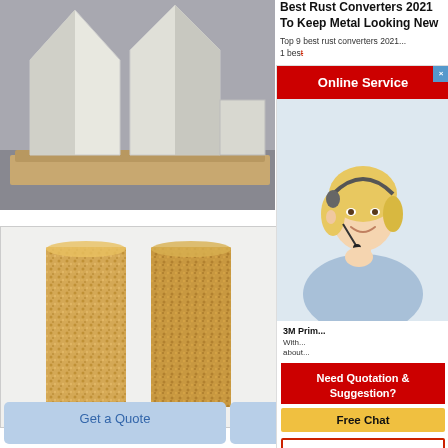[Figure (photo): Metal/industrial components - large white angular metal forms stacked on wooden pallets in a warehouse]
[Figure (photo): Two rectangular blocks of mineral wool / rock wool insulation material showing tan/brown fibrous texture]
Best Rust Converters 2021 To Keep Metal Looking New
Top 9 best rust converters 2021 1 best...
[Figure (screenshot): Online Service popup with woman wearing headset. Contains 'Online Service' red header with close button, agent photo, 'Need Quotation & Suggestion?' section with 'Free Chat' yellow button, and 'Get Price' outlined button]
3M Primer...
With about...
Get a Quote
Chat Now